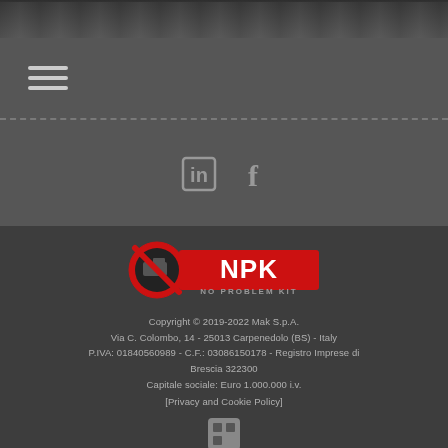[Figure (photo): Dark image banner at the top of the page]
[Figure (other): Hamburger navigation menu icon with three horizontal lines]
[Figure (logo): LinkedIn and Facebook social media icons]
[Figure (logo): NPK No Problem Kit logo - red circular icon with white NPK text and 'NO PROBLEM KIT' tagline]
Copyright © 2019-2022 Mak S.p.A.
Via C. Colombo, 14 - 25013 Carpenedolo (BS) - Italy
P.IVA: 01840560989 - C.F.: 03086150178 - Registro Imprese di Brescia 322300
Capitale sociale: Euro 1.000.000 i.v.
[Privacy and Cookie Policy]
[Figure (logo): Siglacom internet partner logo with square icon and text]